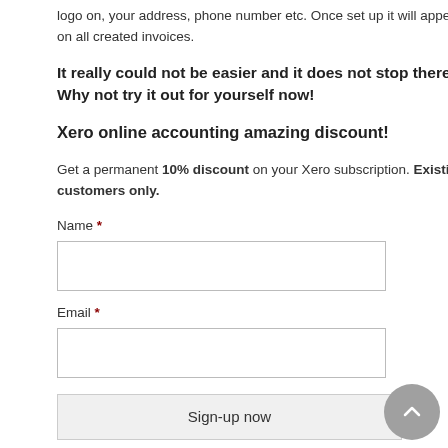logo on, your address, phone number etc. Once set up it will appear on all created invoices.
It really could not be easier and it does not stop there.  Why not try it out for yourself now!
Xero online accounting amazing discount!
Get a permanent 10% discount on your Xero subscription. Existing customers only.
Name *
Email *
Sign-up now